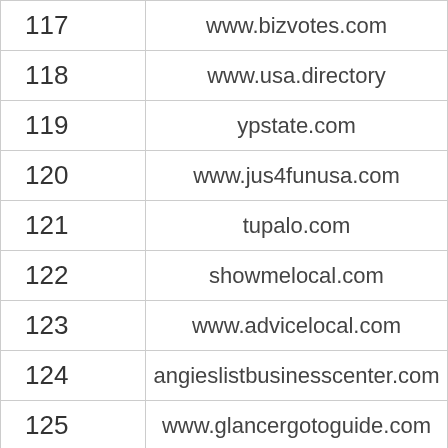| # | URL |
| --- | --- |
| 117 | www.bizvotes.com |
| 118 | www.usa.directory |
| 119 | ypstate.com |
| 120 | www.jus4funusa.com |
| 121 | tupalo.com |
| 122 | showmelocal.com |
| 123 | www.advicelocal.com |
| 124 | angieslistbusinesscenter.com |
| 125 | www.glancergotoguide.com |